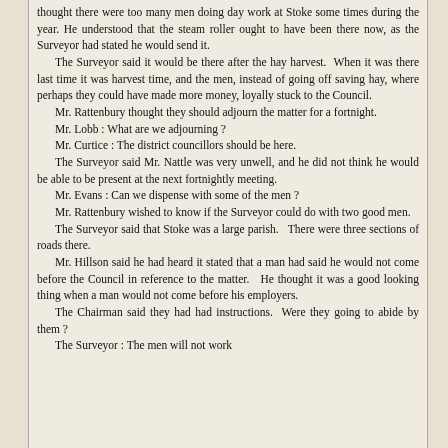thought there were too many men doing day work at Stoke some times during the year. He understood that the steam roller ought to have been there now, as the Surveyor had stated he would send it.
The Surveyor said it would be there after the hay harvest. When it was there last time it was harvest time, and the men, instead of going off saving hay, where perhaps they could have made more money, loyally stuck to the Council.
Mr. Rattenbury thought they should adjourn the matter for a fortnight.
Mr. Lobb : What are we adjourning ?
Mr. Curtice : The district councillors should be here.
The Surveyor said Mr. Nattle was very unwell, and he did not think he would be able to be present at the next fortnightly meeting.
Mr. Evans : Can we dispense with some of the men ?
Mr. Rattenbury wished to know if the Surveyor could do with two good men.
The Surveyor said that Stoke was a large parish. There were three sections of roads there.
Mr. Hillson said he had heard it stated that a man had said he would not come before the Council in reference to the matter. He thought it was a good looking thing when a man would not come before his employers.
The Chairman said they had had instructions. Were they going to abide by them ?
The Surveyor : The men will not work